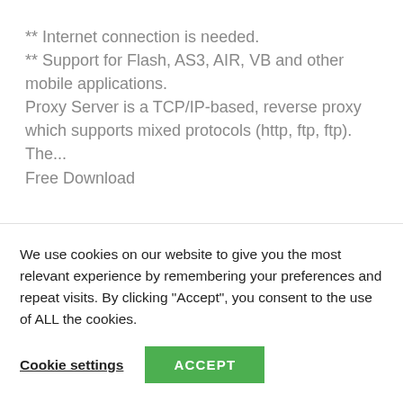** Internet connection is needed.
** Support for Flash, AS3, AIR, VB and other mobile applications.
Proxy Server is a TCP/IP-based, reverse proxy which supports mixed protocols (http, ftp, ftp).
The...
Free Download
...program will enable you to easily forward
We use cookies on our website to give you the most relevant experience by remembering your preferences and repeat visits. By clicking “Accept”, you consent to the use of ALL the cookies.
Cookie settings
ACCEPT